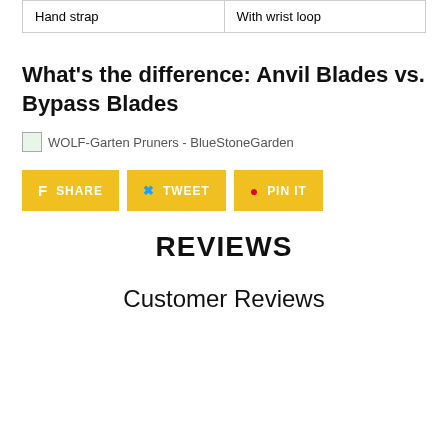| Hand strap | With wrist loop |
What's the difference: Anvil Blades vs. Bypass Blades
[Figure (photo): WOLF-Garten Pruners - BlueStoneGarden image placeholder]
SHARE  TWEET  PIN IT
REVIEWS
Customer Reviews